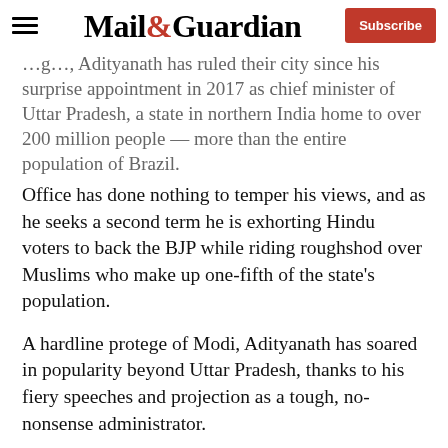Mail&Guardian | Subscribe
…g…, Adityanath has ruled their city since his surprise appointment in 2017 as chief minister of Uttar Pradesh, a state in northern India home to over 200 million people — more than the entire population of Brazil.
Office has done nothing to temper his views, and as he seeks a second term he is exhorting Hindu voters to back the BJP while riding roughshod over Muslims who make up one-fifth of the state's population.
A hardline protege of Modi, Adityanath has soared in popularity beyond Uttar Pradesh, thanks to his fiery speeches and projection as a tough, no-nonsense administrator.